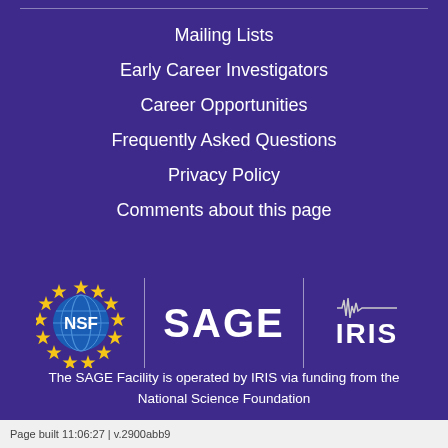Mailing Lists
Early Career Investigators
Career Opportunities
Frequently Asked Questions
Privacy Policy
Comments about this page
[Figure (logo): NSF, SAGE, and IRIS logos arranged horizontally with vertical dividers on a purple background]
The SAGE Facility is operated by IRIS via funding from the National Science Foundation
Page built 11:06:27 | v.2900abb9